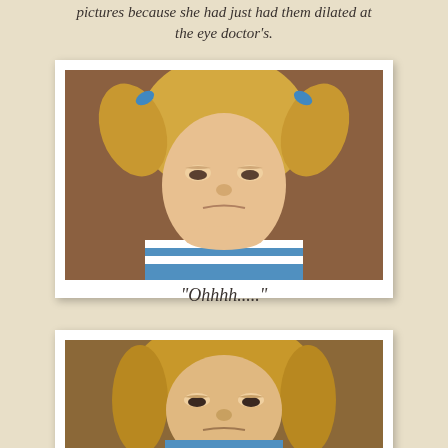pictures because she had just had them dilated at the eye doctor's.
[Figure (photo): Close-up photo of a young blonde girl with pigtails tied with blue bows, wearing a blue and white striped shirt, looking sad or unhappy with droopy eyes (dilated pupils from eye doctor visit)]
"Ohhhh....."
[Figure (photo): Close-up photo of the same young blonde girl, now with hair down, wearing a blue and white striped shirt, still looking sad with droopy dilated eyes]